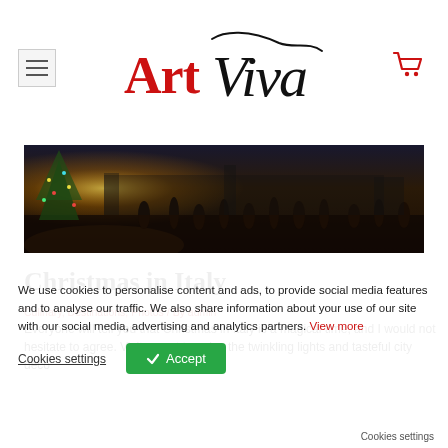[Figure (logo): ArtViva logo with hamburger menu on left and cart icon on right]
[Figure (photo): Christmas scene in Italy showing a crowd of people in a city square at night with a decorated Christmas tree glowing on the left]
Christmas in Italy
Culinary, Destinations, Photos / By admin
Everyone will tell you that Christmas in Italy is a magical time, and I would not hesitate to agree. Visitors get to enjoy the twinkling lights and tasteful city deco
We use cookies to personalise content and ads, to provide social media features and to analyse our traffic. We also share information about your use of our site with our social media, advertising and analytics partners. View more
Cookies settings  ✓ Accept  Cookies settings